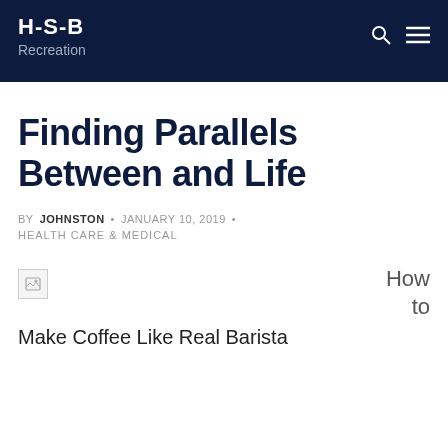H-S-B Recreation
Finding Parallels Between and Life
BY JOHNSTON • JANUARY 10, 2019 • HEALTH CARE & MEDICAL
[Figure (photo): Broken image placeholder icon]
How to
Make Coffee Like Real Barista